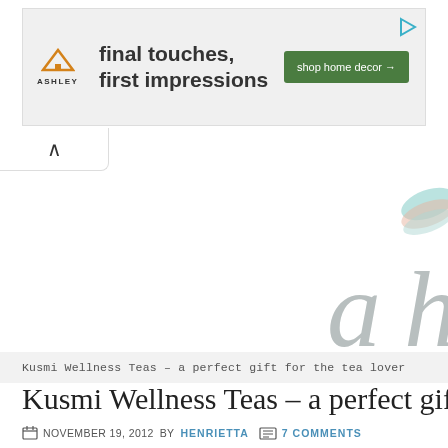[Figure (other): Ashley Furniture advertisement banner: orange house icon with 'ASHLEY' text, bold text 'final touches, first impressions', green button 'shop home decor →', and play icon in top-right corner]
[Figure (other): Website screenshot showing partial blog header with decorative script text 'a h' in gray and a pastel decorative element in top-right corner]
Kusmi Wellness Teas – a perfect gift for the tea lover
Kusmi Wellness Teas – a perfect gift
NOVEMBER 19, 2012 BY HENRIETTA  7 COMMENTS